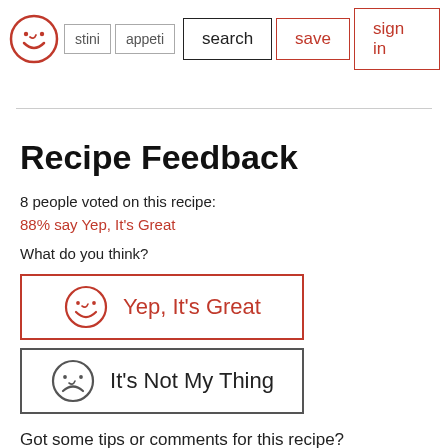search | save | sign in
Recipe Feedback
8 people voted on this recipe:
88% say Yep, It's Great
What do you think?
[Figure (other): Button: Yep, It's Great with happy smiley face icon in red border]
[Figure (other): Button: It's Not My Thing with sad smiley face icon in grey border]
Got some tips or comments for this recipe?